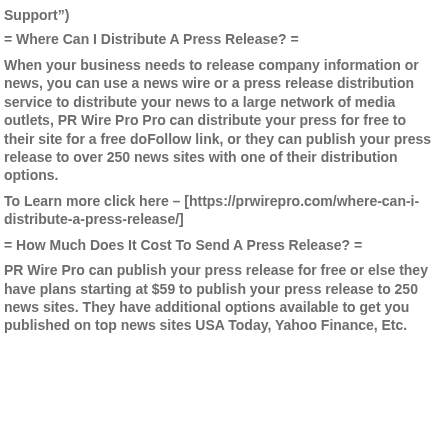Support")
= Where Can I Distribute A Press Release? =
When your business needs to release company information or news, you can use a news wire or a press release distribution service to distribute your news to a large network of media outlets, PR Wire Pro Pro can distribute your press for free to their site for a free doFollow link, or they can publish your press release to over 250 news sites with one of their distribution options.
To Learn more click here – [https://prwirepro.com/where-can-i-distribute-a-press-release/]
= How Much Does It Cost To Send A Press Release? =
PR Wire Pro can publish your press release for free or else they have plans starting at $59 to publish your press release to 250 news sites. They have additional options available to get you published on top news sites USA Today, Yahoo Finance, Etc.